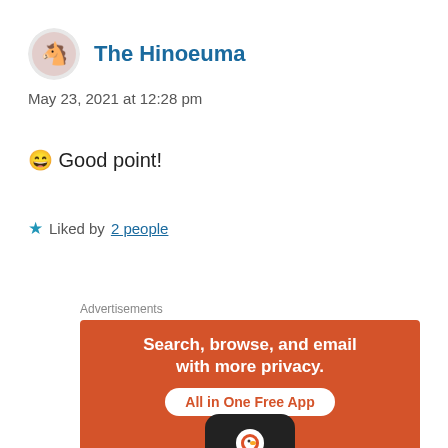The Hinoeuma
May 23, 2021 at 12:28 pm
😄 Good point!
★ Liked by 2 people
Log in to Reply
Advertisements
[Figure (illustration): DuckDuckGo advertisement banner with orange background. Text reads 'Search, browse, and email with more privacy. All in One Free App'. Shows a smartphone with DuckDuckGo logo duck icon.]